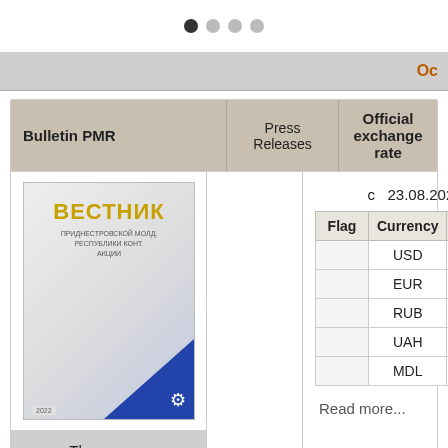[Figure (other): Navigation dots: one filled dark dot and three gray dots]
| Bulletin PMR | Press Releases | Official exchange rate |
| --- | --- | --- |
| [Вестник bulletin image] |  | c 23.08.2022
Flag | Currency | Course
 | USD | 16.1000
 | EUR | 16.0984
 | RUB | 0.2695
 | UAH | 0.4403
 | MDL | 0.8073 |
| The agency for the improvement... |  | Read more... |
| Flag | Currency | Course |
| --- | --- | --- |
|  | USD | 16.1000 |
|  | EUR | 16.0984 |
|  | RUB | 0.2695 |
|  | UAH | 0.4403 |
|  | MDL | 0.8073 |
с  23.08.2022
Read more...
The agency for the improvement